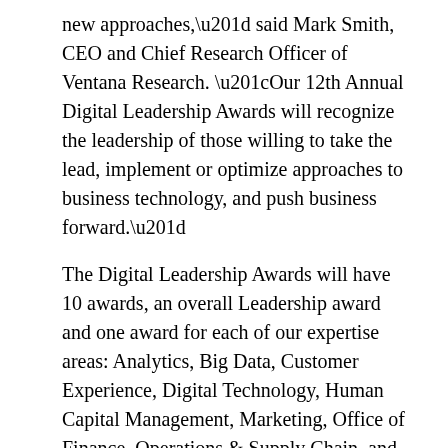new approaches,” said Mark Smith, CEO and Chief Research Officer of Ventana Research. “Our 12th Annual Digital Leadership Awards will recognize the leadership of those willing to take the lead, implement or optimize approaches to business technology, and push business forward.”
The Digital Leadership Awards will have 10 awards, an overall Leadership award and one award for each of our expertise areas: Analytics, Big Data, Customer Experience, Digital Technology, Human Capital Management, Marketing, Office of Finance, Operations & Supply Chain, and Sales. Submissions are evaluated by Ventana Research based on the awards program criteria at www.ventanaresearch.com/resources/awards/leadership, where interested organizations or individuals can fill out the submission form. The submission process must be completed by August